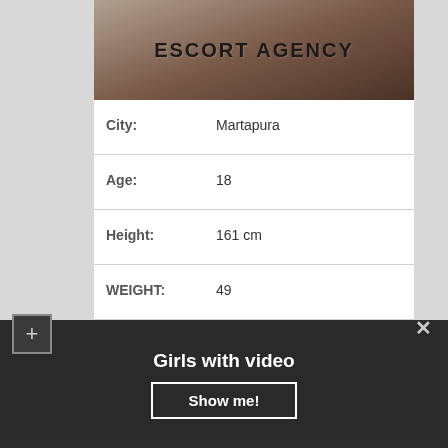[Figure (photo): Escort agency banner image with text 'ESCORT AGENCY' overlaid]
| City: | Martapura |
| Age: | 18 |
| Height: | 161 cm |
| WEIGHT: | 49 |
| Time to call □: | 11:00 – 20:00 |
| Sizes: | 92-58-84 |
| Sex services: | Lapdancing, For family couples, Moresomes ♠ |
| Outcall: | Possible |
Girls with video
Show me!